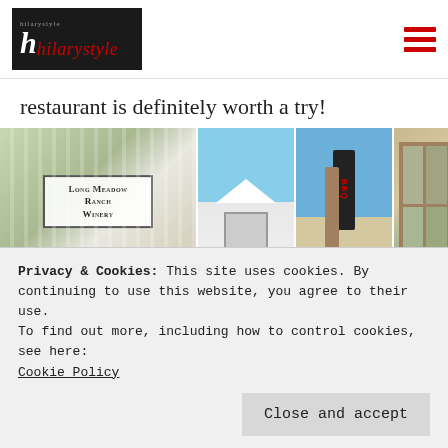[Figure (logo): Hilarystyle blog logo: black background with white italic 'h' and red italic 'hilarystyle' text]
restaurant is definitely worth a try!
[Figure (photo): Grid of 6 photos showing Long Meadow Ranch Winery sign, white building exterior, BBQ sign, window view, and two blurred flower/nature photos]
Privacy & Cookies: This site uses cookies. By continuing to use this website, you agree to their use.
To find out more, including how to control cookies, see here:
Cookie Policy
Close and accept